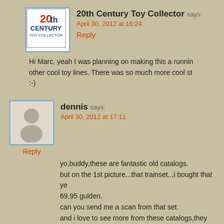[Figure (logo): 20th Century Toy Collector logo with red '20th' text and blue 'CENTURY TOY COLLECTOR' text]
20th Century Toy Collector says:
April 30, 2012 at 16:24
Reply
Hi Marc, yeah I was planning on making this a running other cool toy lines. There was so much more cool st :-)
[Figure (photo): Generic person/user avatar silhouette icon]
dennis says:
April 30, 2012 at 17:11
Reply
yo,buddy,these are fantastic old catalogs.
but on the 1st picture...that trainset...i bought that ye 69,95 gulden.
can you send me a scan from that set.
and i love to see more from these catalogs,they bring
greetings from dennis.
[Figure (logo): 20th Century Toy Collector logo with red '20th' text and blue 'CENTURY TOY COLLECTOR' text]
20th Century Toy Collector says:
May 1, 2012 at 20:04
Reply
@Dennis: Thx, Den. I'm going to try and dig up that c high resolution scan this weekend at the latest!